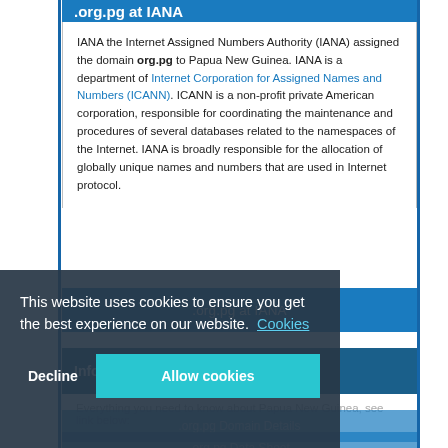.org.pg at IANA
IANA the Internet Assigned Numbers Authority (IANA) assigned the domain org.pg to Papua New Guinea. IANA is a department of Internet Corporation for Assigned Names and Numbers (ICANN). ICANN is a non-profit private American corporation, responsible for coordinating the maintenance and procedures of several databases related to the namespaces of the Internet. IANA is broadly responsible for the allocation of globally unique names and numbers that are used in Internet protocol.
.org.pg at IANA
Information on Papua New Guinea
Everything you need to know about Papua New Guinea, see link below:
.org.pg Domain Details
.org.pg Data Sheet
This website uses cookies to ensure you get the best experience on our website. Cookies Decline Allow cookies